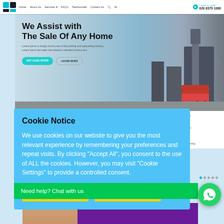[Figure (screenshot): Website screenshot showing a real estate homepage with navigation bar, hero section with 'We Assist with The Sale Of Any Home' heading, London cityscape background, and a cookie notice popup overlay with yellow action buttons and a WhatsApp chat widget.]
Home   About Us   Services   FAQ's   Testimonials   Contact Us   020 8379 1000
We Assist with The Sale Of Any Home
Lorem Ipsum is simply dummy text of the printing and typesetting industry. Lorem Ipsum has been the industry's standard dummy text.
Cookie Notice
We use cookies on our website to give you the most relevant experience by remembering your preferences and repeat visits. By clicking "Accept All", you consent to the use of ALL the cookies. However, you may visit "Cookie Settings" to provide a controlled consent.
Cookie Settings   ACCEPT ALL
Need help? Chat with us